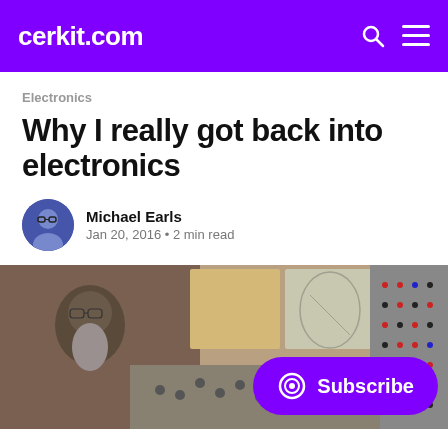cerkit.com
Electronics
Why I really got back into electronics
Michael Earls
Jan 20, 2016 • 2 min read
[Figure (photo): Elderly man with long beard working at a large modular synthesizer or electronics panel, with artwork visible on the wall behind him. A purple Subscribe button overlays the bottom right of the image.]